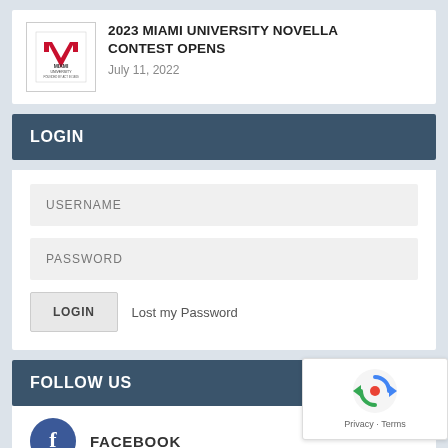2023 MIAMI UNIVERSITY NOVELLA CONTEST OPENS
July 11, 2022
LOGIN
USERNAME
PASSWORD
LOGIN
Lost my Password
FOLLOW US
FACEBOOK